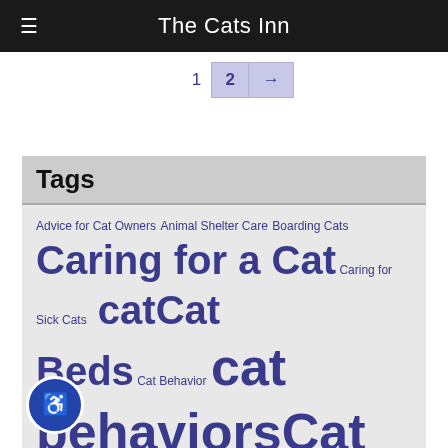≡  The Cats Inn
1  2  →
Tags
Advice for Cat Owners Animal Shelter Care Boarding Cats Caring for a Cat Caring for Sick Cats cat Cat Beds Cat Behavior cat behaviors Cat Care Tips Cat Carriers cat diet cat food Cat Fun Facts cat grooming cat health Cat Health Tips cat illnesses cat litter cat responsibilites cat Safety Tips cats behaviors explained cats scratching furniture cat tongues cat